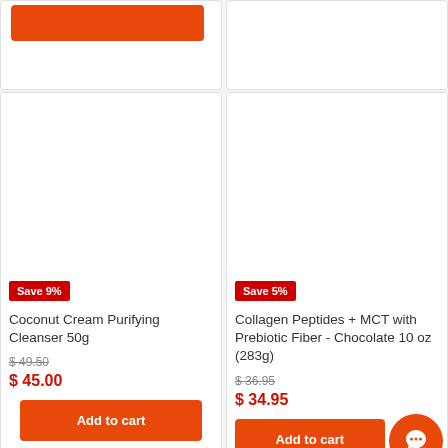[Figure (other): Partial top section of two product cards with orange Add to cart buttons partially visible]
Save 9%
Coconut Cream Purifying Cleanser 50g
$ 49.50
$ 45.00
Add to cart
Save 5%
Collagen Peptides + MCT with Prebiotic Fiber - Chocolate 10 oz (283g)
$ 36.95
$ 34.95
Add to cart